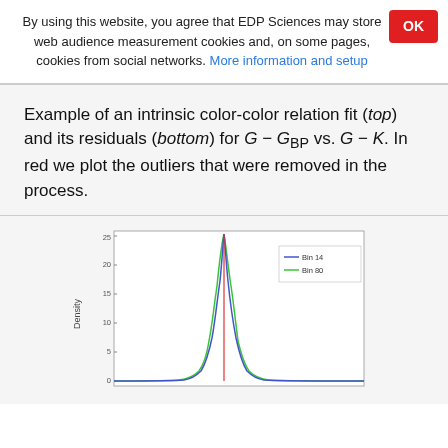By using this website, you agree that EDP Sciences may store web audience measurement cookies and, on some pages, cookies from social networks. More information and setup
Example of an intrinsic color-color relation fit (top) and its residuals (bottom) for G − G_BP vs. G − K. In red we plot the outliers that were removed in the process.
[Figure (continuous-plot): A density plot showing two overlapping bell-shaped curves (blue labeled 'Bin 14' and green labeled 'Bin 80') with a vertical red line at the peak. The y-axis is labeled 'Density'. The curves are narrow and tall, peaking near the center of the x-axis.]